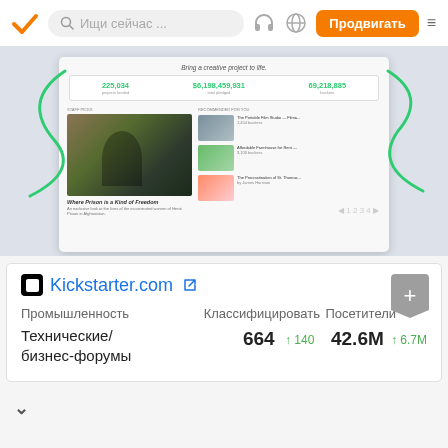Ищи сейчас ... | Продвигать
[Figure (screenshot): Screenshot of Kickstarter.com website showing stats: 225,034 projects funded, $6,198,459,931 total pledged, 69,218,885 backers. Featured project: Where Prison is a Kind of Freedom. Side items show recommended projects with thumbnails.]
Kickstarter.com
Промышленность	Классифицировать	Посетители
Технические/бизнес-форумы	664 ↑140	42.6M ↑6.7M